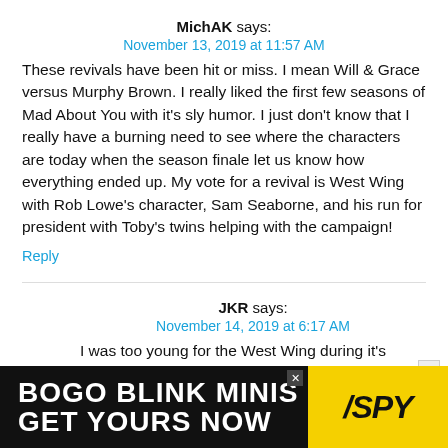MichAK says:
November 13, 2019 at 11:57 AM
These revivals have been hit or miss. I mean Will & Grace versus Murphy Brown. I really liked the first few seasons of Mad About You with it's sly humor. I just don't know that I really have a burning need to see where the characters are today when the season finale let us know how everything ended up. My vote for a revival is West Wing with Rob Lowe's character, Sam Seaborne, and his run for president with Toby's twins helping with the campaign!
Reply
JKR says:
November 14, 2019 at 6:17 AM
I was too young for the West Wing during it's original run, but I've been watching it on
[Figure (infographic): Advertisement banner: BOGO BLINK MINIS GET YOURS NOW with SPY logo on yellow background]